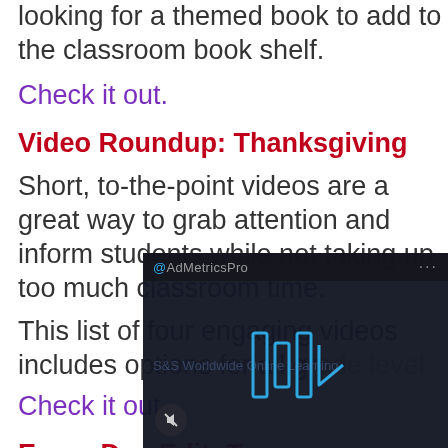looking for a themed book to add to the classroom book shelf.
Check it out.
Video Roundup: Thanksgiving
Short, to-the-point videos are a great way to grab attention and inform students while not taking up too much classroom time.
This list of four engaging videos includes options for all gr...
Check it out.
Every-Day-Edit: T...
Our Every-Day-E...
[Figure (screenshot): AdMetricsPro video overlay with S&S Worldwide Online Learning branding and play controls]